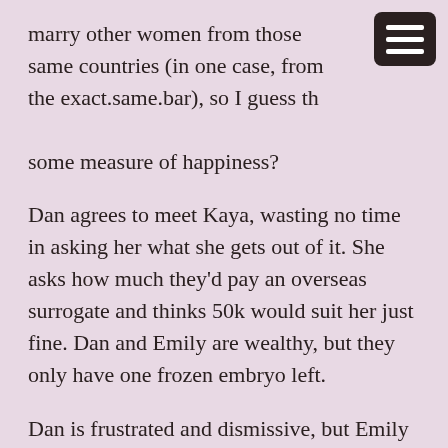marry other women from those same countries (in one case, from the exact.same.bar), so I guess they found some measure of happiness?
Dan agrees to meet Kaya, wasting no time in asking her what she gets out of it. She asks how much they'd pay an overseas surrogate and thinks 50k would suit her just fine. Dan and Emily are wealthy, but they only have one frozen embryo left.
Dan is frustrated and dismissive, but Emily wants to make this work. She suggests they give Kaya the 50k as a reasonable expense, an investment in her own business. Dan snorts and Kaya leaves, embarrassed and angry at being belittled.
Dan's not only suspicious of Kaya's motives, the fact